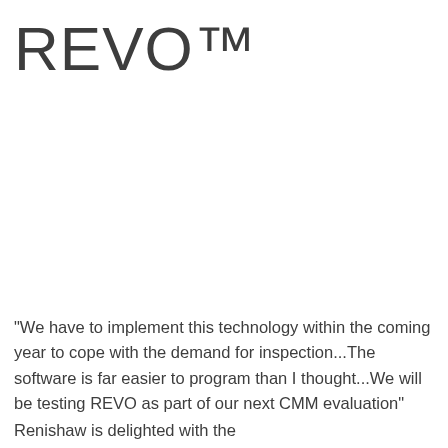REVO™
"We have to implement this technology within the coming year to cope with the demand for inspection...The software is far easier to program than I thought...We will be testing REVO as part of our next CMM evaluation"
Renishaw is delighted with the